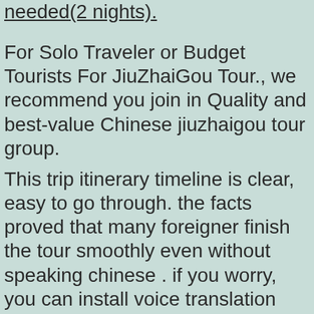needed(2 nights).
For Solo Traveler or Budget Tourists For JiuZhaiGou Tour., we recommend you join in Quality and best-value Chinese jiuzhaigou tour group.
This trip itinerary timeline is clear, easy to go through. the facts proved that many foreigner finish the tour smoothly even without speaking chinese . if you worry, you can install voice translation APP –YouDao translator(https://fanyiguan.youdao.com/), which can work without wifi. and language barrier would